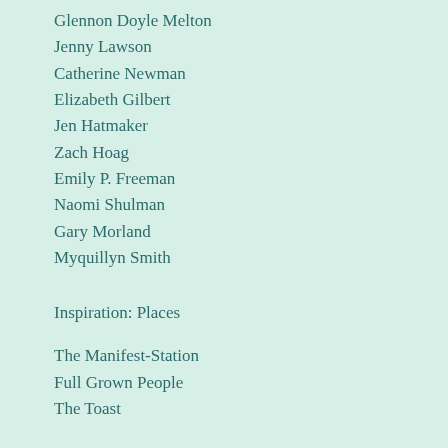Glennon Doyle Melton
Jenny Lawson
Catherine Newman
Elizabeth Gilbert
Jen Hatmaker
Zach Hoag
Emily P. Freeman
Naomi Shulman
Gary Morland
Myquillyn Smith
Inspiration: Places
The Manifest-Station
Full Grown People
The Toast